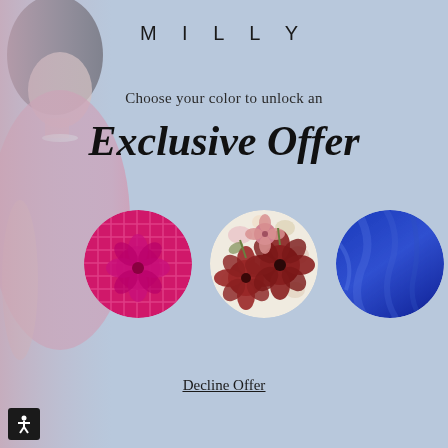MILLY
Choose your color to unlock an
Exclusive Offer
[Figure (illustration): Three circular fabric swatches: left is hot pink lace with floral detail, center is a floral print fabric with pink and red flowers on pale background, right is solid cobalt blue fabric. A woman in a pink dress is partially visible on the left edge.]
Decline Offer